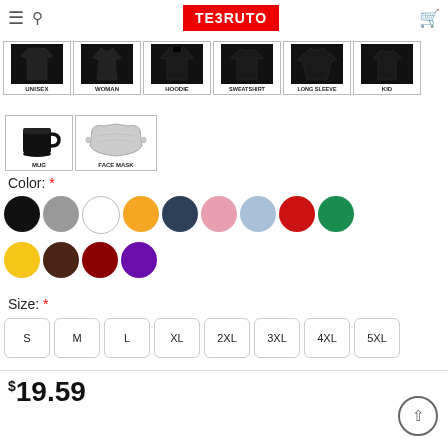TEERUTO
[Figure (illustration): Product type selector showing UNISEX, WOMAN, HOODIE, SWEATSHIRT, LONG SLEEVE, KID clothing icons in black]
[Figure (illustration): Additional product types: MUG (black mug) and FACE MASK]
Color: *
[Figure (illustration): Color swatches: black, gray, white, orange, dark slate, pink, light blue, red, green (row 1); yellow, brown, dark red, purple (row 2)]
Size: *
[Figure (illustration): Size selector boxes: S, M, L, XL, 2XL, 3XL, 4XL, 5XL]
$19.59